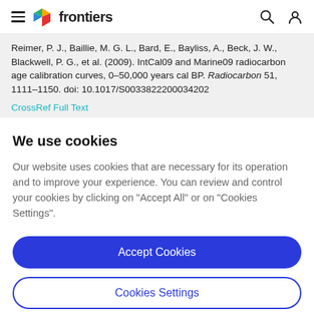frontiers
Reimer, P. J., Baillie, M. G. L., Bard, E., Bayliss, A., Beck, J. W., Blackwell, P. G., et al. (2009). IntCal09 and Marine09 radiocarbon age calibration curves, 0–50,000 years cal BP. Radiocarbon 51, 1111–1150. doi: 10.1017/S0033822200034202
CrossRef Full Text
We use cookies
Our website uses cookies that are necessary for its operation and to improve your experience. You can review and control your cookies by clicking on "Accept All" or on "Cookies Settings".
Accept Cookies
Cookies Settings